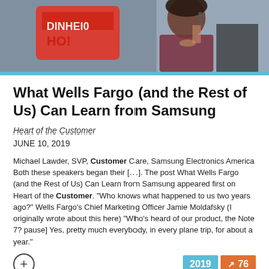[Figure (photo): A woman on the phone smiling, with a red Samsung promotional sign visible in the background]
What Wells Fargo (and the Rest of Us) Can Learn from Samsung
Heart of the Customer
JUNE 10, 2019
Michael Lawder, SVP, Customer Care, Samsung Electronics America Both these speakers began their […]. The post What Wells Fargo (and the Rest of Us) Can Learn from Samsung appeared first on Heart of the Customer. “Who knows what happened to us two years ago?” Wells Fargo’s Chief Marketing Officer Jamie Moldafsky (I originally wrote about this here) “Who’s heard of our product, the Note 7? pause] Yes, pretty much everybody, in every plane trip, for about a year.”